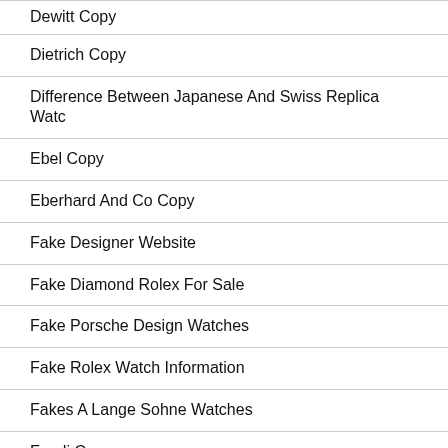Dewitt Copy
Dietrich Copy
Difference Between Japanese And Swiss Replica Watc
Ebel Copy
Eberhard And Co Copy
Fake Designer Website
Fake Diamond Rolex For Sale
Fake Porsche Design Watches
Fake Rolex Watch Information
Fakes A Lange Sohne Watches
Fendi Copy